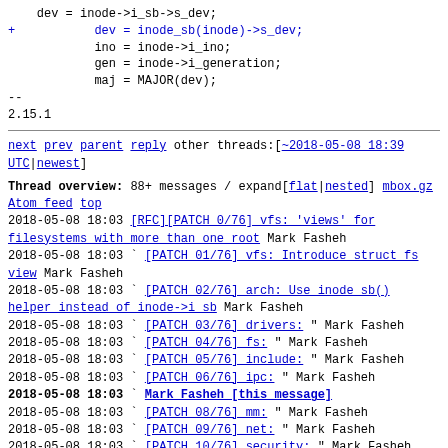dev = inode->i_sb->s_dev;
+           dev = inode_sb(inode)->s_dev;
            ino = inode->i_ino;
            gen = inode->i_generation;
            maj = MAJOR(dev);
--
2.15.1
next prev parent reply   other threads:[~2018-05-08 18:39 UTC|newest]
Thread overview: 88+ messages / expand[flat|nested]
mbox.gz  Atom feed  top
2018-05-08 18:03 [RFC][PATCH 0/76] vfs: 'views' for filesystems with more than one root Mark Fasheh
2018-05-08 18:03 ` [PATCH 01/76] vfs: Introduce struct fs view Mark Fasheh
2018-05-08 18:03 ` [PATCH 02/76] arch: Use inode sb() helper instead of inode->i sb Mark Fasheh
2018-05-08 18:03 ` [PATCH 03/76] drivers: " Mark Fasheh
2018-05-08 18:03 ` [PATCH 04/76] fs: " Mark Fasheh
2018-05-08 18:03 ` [PATCH 05/76] include: " Mark Fasheh
2018-05-08 18:03 ` [PATCH 06/76] ipc: " Mark Fasheh
2018-05-08 18:03 ` Mark Fasheh [this message]
2018-05-08 18:03 ` [PATCH 08/76] mm: " Mark Fasheh
2018-05-08 18:03 ` [PATCH 09/76] net: " Mark Fasheh
2018-05-08 18:03 ` [PATCH 10/76] security: " Mark Fasheh
2018-05-08 18:03 ` [PATCH 11/76] fs/9p: " Mark Fasheh
2018-05-08 18:03 ` [PATCH 12/76] fs/adfs: " Mark Fasheh